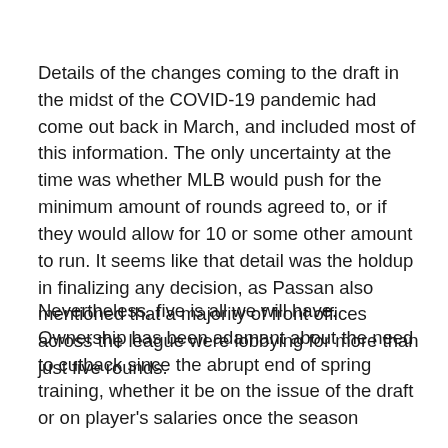Details of the changes coming to the draft in the midst of the COVID-19 pandemic had come out back in March, and included most of this information. The only uncertainty at the time was whether MLB would push for the minimum amount of rounds agreed to, or if they would allow for 10 or some other amount to run. It seems like that detail was the holdup in finalizing any decision, as Passan also mentioned that a majority of front offices across the league were lobbying for more than just five rounds.
Nevertheless, five is all we will have. Ownership has been adamant about the need to cutback since the abrupt end of spring training, whether it be on the issue of the draft or on player's salaries once the season...